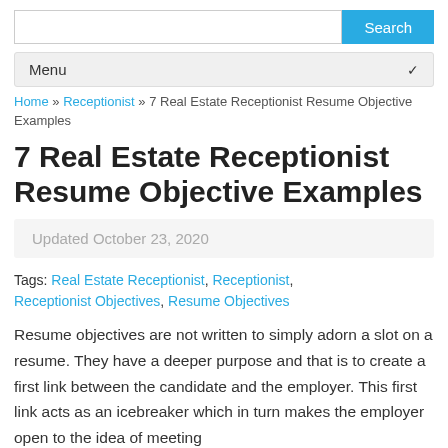Search | Menu
Home » Receptionist » 7 Real Estate Receptionist Resume Objective Examples
7 Real Estate Receptionist Resume Objective Examples
Updated October 23, 2020
Tags: Real Estate Receptionist, Receptionist, Receptionist Objectives, Resume Objectives
Resume objectives are not written to simply adorn a slot on a resume. They have a deeper purpose and that is to create a first link between the candidate and the employer. This first link acts as an icebreaker which in turn makes the employer open to the idea of meeting